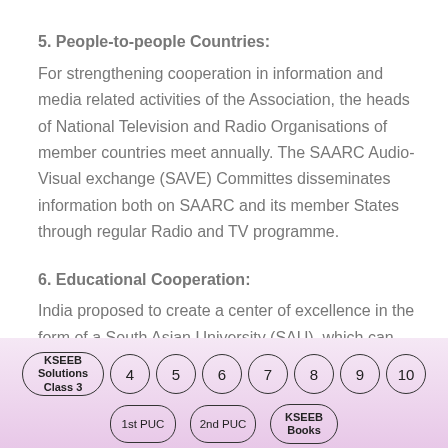5. People-to-people Countries:
For strengthening cooperation in information and media related activities of the Association, the heads of National Television and Radio Organisations of member countries meet annually. The SAARC Audio-Visual exchange (SAVE) Committes disseminates information both on SAARC and its member States through regular Radio and TV programme.
6. Educational Cooperation:
India proposed to create a center of excellence in the form of a South Asian University (SAU), which can
[Figure (other): Navigation badge bar with oval KSEEB Solutions Class 3 badge, circular number badges 4-10, and oval badges for 1st PUC, 2nd PUC, KSEEB Books]